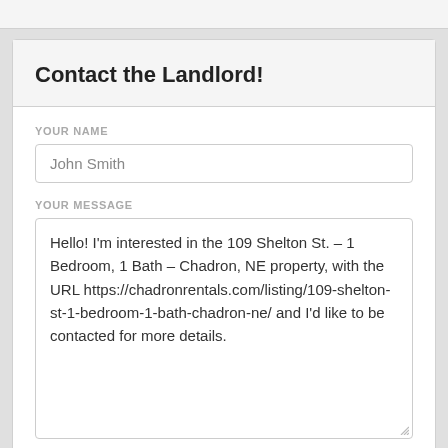Contact the Landlord!
YOUR NAME
John Smith
YOUR MESSAGE
Hello! I'm interested in the 109 Shelton St. – 1 Bedroom, 1 Bath – Chadron, NE property, with the URL https://chadronrentals.com/listing/109-shelton-st-1-bedroom-1-bath-chadron-ne/ and I'd like to be contacted for more details.
YOUR PHONE